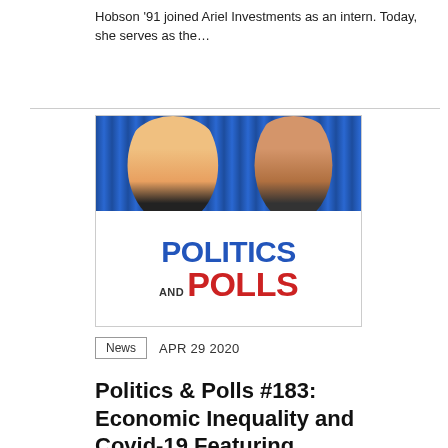Hobson '91 joined Ariel Investments as an intern. Today, she serves as the…
[Figure (photo): Promotional image for the 'Politics and Polls' podcast showing two men at podiums with microphones against a blue curtain background, with large text reading 'POLITICS AND POLLS' in blue and red.]
News   APR 29 2020
Politics & Polls #183: Economic Inequality and Covid-19 Featuring